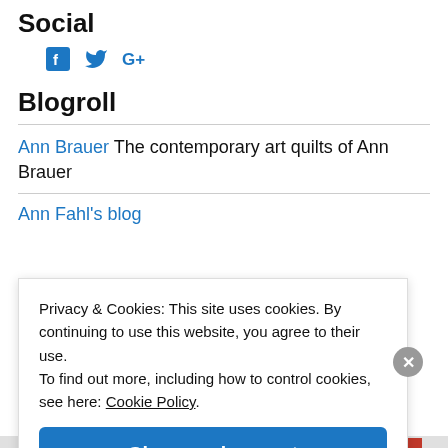Social
[Figure (illustration): Social media icons: Facebook (f), Twitter (bird), Google+ (G+) in blue]
Blogroll
Ann Brauer The contemporary art quilts of Ann Brauer
Ann Fahl's blog
Privacy & Cookies: This site uses cookies. By continuing to use this website, you agree to their use.
To find out more, including how to control cookies, see here: Cookie Policy
Close and accept